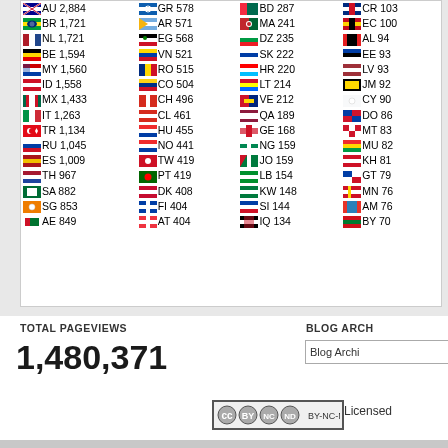| Flag | CC | Count | Flag | CC | Count | Flag | CC | Count | Flag | CC | Count |
| --- | --- | --- | --- | --- | --- | --- | --- | --- | --- | --- | --- |
| 🇦🇺 | AU | 2,884 | 🇬🇷 | GR | 578 | 🇧🇩 | BD | 287 | 🇨🇷 | CR | 103 |
| 🇧🇷 | BR | 1,721 | 🇦🇷 | AR | 571 | 🇲🇦 | MA | 241 | 🇪🇨 | EC | 100 |
| 🇳🇱 | NL | 1,721 | 🇪🇬 | EG | 568 | 🇩🇿 | DZ | 235 | 🇦🇱 | AL | 94 |
| 🇧🇪 | BE | 1,594 | 🇻🇳 | VN | 521 | 🇸🇰 | SK | 222 | 🇪🇪 | EE | 93 |
| 🇲🇾 | MY | 1,560 | 🇷🇴 | RO | 515 | 🇭🇷 | HR | 220 | 🇱🇻 | LV | 93 |
| 🇮🇩 | ID | 1,558 | 🇨🇴 | CO | 504 | 🇱🇹 | LT | 214 | 🇯🇲 | JM | 92 |
| 🇲🇽 | MX | 1,433 | 🇨🇭 | CH | 496 | 🇻🇪 | VE | 212 | 🇨🇾 | CY | 90 |
| 🇮🇹 | IT | 1,263 | 🇨🇱 | CL | 461 | 🇶🇦 | QA | 189 | 🇩🇴 | DO | 86 |
| 🇹🇷 | TR | 1,134 | 🇭🇺 | HU | 455 | 🇬🇪 | GE | 168 | 🇲🇹 | MT | 83 |
| 🇷🇺 | RU | 1,045 | 🇳🇴 | NO | 441 | 🇳🇬 | NG | 159 | 🇲🇺 | MU | 82 |
| 🇪🇸 | ES | 1,009 | 🇹🇼 | TW | 419 | 🇯🇴 | JO | 159 | 🇰🇭 | KH | 81 |
| 🇹🇭 | TH | 967 | 🇵🇹 | PT | 419 | 🇱🇧 | LB | 154 | 🇬🇹 | GT | 79 |
| 🇸🇦 | SA | 882 | 🇩🇰 | DK | 408 | 🇰🇼 | KW | 148 | 🇲🇳 | MN | 76 |
| 🇸🇬 | SG | 853 | 🇫🇮 | FI | 404 | 🇸🇮 | SI | 144 | 🇦🇲 | AM | 76 |
| 🇦🇪 | AE | 849 | 🇦🇹 | AT | 404 | 🇮🇶 | IQ | 134 | 🇧🇾 | BY | 70 |
TOTAL PAGEVIEWS
1,480,371
BLOG ARCH
Blog Archi
[Figure (logo): Creative Commons BY-NC-ND license badge]
Licensed